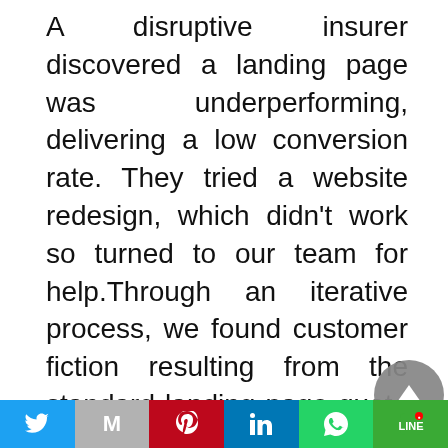A disruptive insurer discovered a landing page was underperforming, delivering a low conversion rate. They tried a website redesign, which didn't work so turned to our team for help.Through an iterative process, we found customer fiction resulting from the standard landing page quote form. We needed to rescue the friction from inside the quote funnel, particularly from paid traffic sources (ads). After changing the standard form to one with a more conversational flow, we tested again and found a 12% increase in conversions for all traffic.

Taking the insight that customers preferred a more conversational format, we then replaced all the
[Figure (other): Round grey scroll-to-top button with upward triangle arrow, overlaid on text in lower right area]
Twitter | Gmail | Pinterest | LinkedIn | WhatsApp | Line